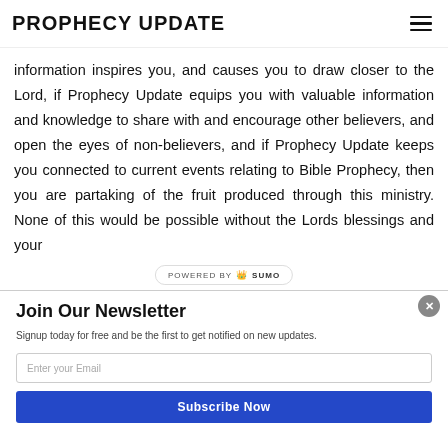PROPHECY UPDATE
information inspires you, and causes you to draw closer to the Lord, if Prophecy Update equips you with valuable information and knowledge to share with and encourage other believers, and open the eyes of non-believers, and if Prophecy Update keeps you connected to current events relating to Bible Prophecy, then you are partaking of the fruit produced through this ministry. None of this would be possible without the Lords blessings and your
Join Our Newsletter
Signup today for free and be the first to get notified on new updates.
Enter your Email
Subscribe Now